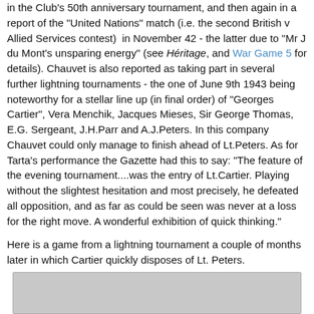in the Club's 50th anniversary tournament, and then again in a report of the "United Nations" match (i.e. the second British v Allied Services contest) in November 42 - the latter due to "Mr J du Mont's unsparing energy" (see Héritage, and War Game 5 for details). Chauvet is also reported as taking part in several further lightning tournaments - the one of June 9th 1943 being noteworthy for a stellar line up (in final order) of "Georges Cartier", Vera Menchik, Jacques Mieses, Sir George Thomas, E.G. Sergeant, J.H.Parr and A.J.Peters. In this company Chauvet could only manage to finish ahead of Lt.Peters. As for Tarta's performance the Gazette had this to say: "The feature of the evening tournament....was the entry of Lt.Cartier. Playing without the slightest hesitation and most precisely, he defeated all opposition, and as far as could be seen was never at a loss for the right move. A wonderful exhibition of quick thinking."
Here is a game from a lightning tournament a couple of months later in which Cartier quickly disposes of Lt. Peters.
[Figure (other): Gray box placeholder at the bottom of the page]